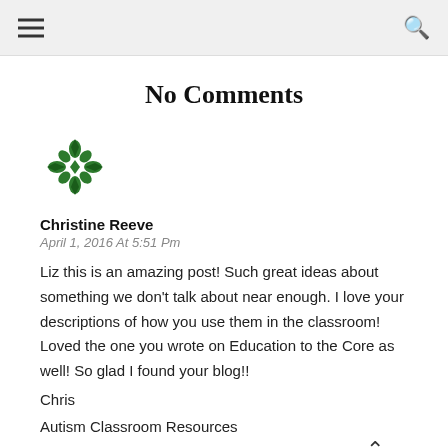Navigation bar with hamburger menu and search icon
No Comments
[Figure (logo): Green geometric snowflake/mandala avatar icon for Christine Reeve]
Christine Reeve
April 1, 2016 At 5:51 Pm
Liz this is an amazing post! Such great ideas about something we don't talk about near enough. I love your descriptions of how you use them in the classroom! Loved the one you wrote on Education to the Core as well! So glad I found your blog!!
Chris
Autism Classroom Resources